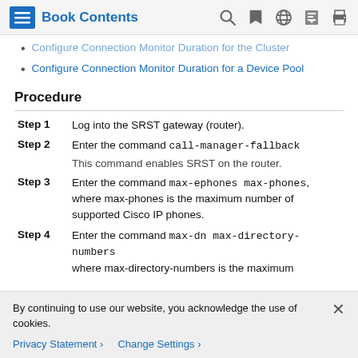Book Contents
Configure Connection Monitor Duration for the Cluster
Configure Connection Monitor Duration for a Device Pool
Procedure
Step 1 – Log into the SRST gateway (router).
Step 2 – Enter the command call-manager-fallback. This command enables SRST on the router.
Step 3 – Enter the command max-ephones max-phones, where max-phones is the maximum number of supported Cisco IP phones.
Step 4 – Enter the command max-dn max-directory-numbers where max-directory-numbers is the maximum
By continuing to use our website, you acknowledge the use of cookies.
Privacy Statement > Change Settings >